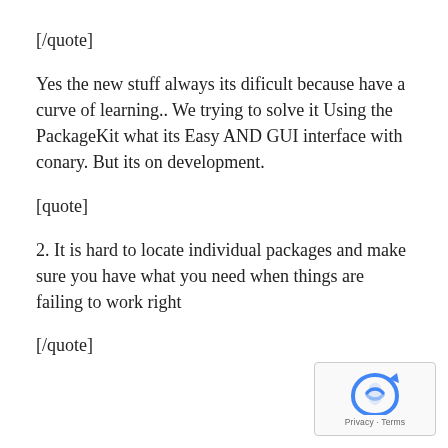[/quote]
Yes the new stuff always its dificult because have a curve of learning.. We trying to solve it Using the PackageKit what its Easy AND GUI interface with conary. But its on development.
[quote]
2. It is hard to locate individual packages and make sure you have what you need when things are failing to work right
[/quote]
[Figure (logo): reCAPTCHA logo with Privacy and Terms link]